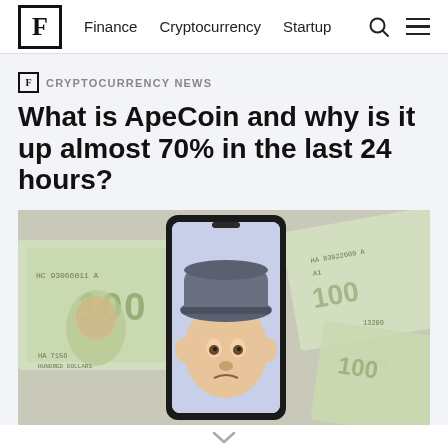F  Finance  Cryptocurrency  Startup
CRYPTOCURRENCY NEWS
What is ApeCoin and why is it up almost 70% in the last 24 hours?
[Figure (photo): A Bored Ape Yacht Club NFT displayed on a smartphone screen, surrounded by US $100 dollar bills.]